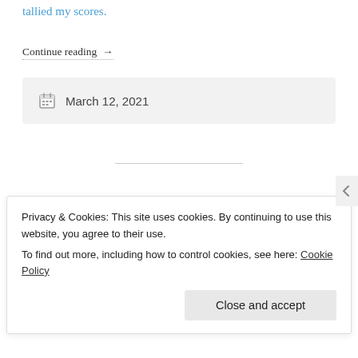tallied my scores.
Continue reading →
March 12, 2021
Parasite Makes History:
Privacy & Cookies: This site uses cookies. By continuing to use this website, you agree to their use. To find out more, including how to control cookies, see here: Cookie Policy
Close and accept